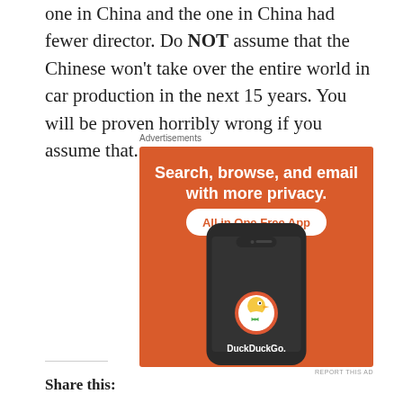one in China and the one in China had fewer director. Do NOT assume that the Chinese won't take over the entire world in car production in the next 15 years. You will be proven horribly wrong if you assume that.
[Figure (other): DuckDuckGo advertisement banner with orange background. Text reads: 'Search, browse, and email with more privacy. All in One Free App'. Shows a smartphone with DuckDuckGo duck logo on screen and 'DuckDuckGo.' text below.]
Share this: